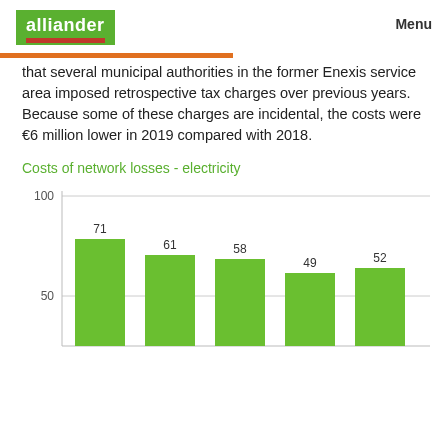alliander   Menu
that several municipal authorities in the former Enexis service area imposed retrospective tax charges over previous years. Because some of these charges are incidental, the costs were €6 million lower in 2019 compared with 2018.
Costs of network losses - electricity
[Figure (bar-chart): Costs of network losses - electricity]